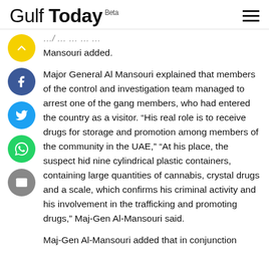Gulf Today Beta
Mansouri added.
Major General Al Mansouri explained that members of the control and investigation team managed to arrest one of the gang members, who had entered the country as a visitor. “His real role is to receive drugs for storage and promotion among members of the community in the UAE,” “At his place, the suspect hid nine cylindrical plastic containers, containing large quantities of cannabis, crystal drugs and a scale, which confirms his criminal activity and his involvement in the trafficking and promoting drugs,” Maj-Gen Al-Mansouri said.
Maj-Gen Al-Mansouri added that in conjunction